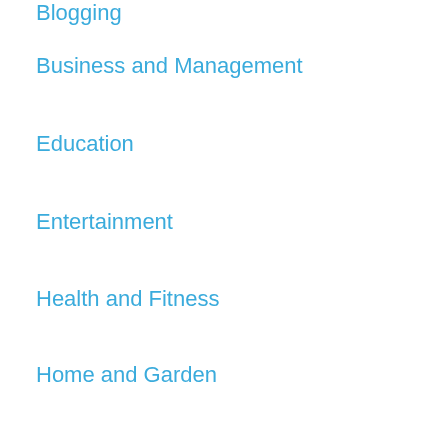Blogging
Business and Management
Education
Entertainment
Health and Fitness
Home and Garden